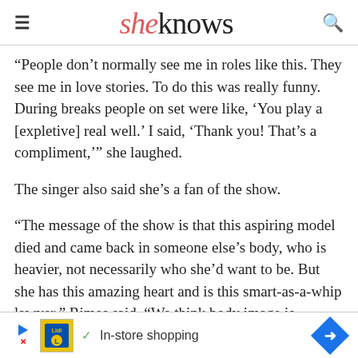sheknows
“People don’t normally see me in roles like this. They see me in love stories. To do this was really funny. During breaks people on set were like, ‘You play a [expletive] real well.’ I said, ‘Thank you! That’s a compliment,’” she laughed.
The singer also said she’s a fan of the show.
“The message of the show is that this aspiring model died and came back in someone else’s body, who is heavier, not necessarily who she’d want to be. But she has this amazing heart and is this smart-as-a-whip lawyer,” Rimes said. “We think body image is
[Figure (other): Advertisement banner for Lidl in-store shopping with play button, Lidl logo, checkmark, text 'In-store shopping', and a blue diamond arrow icon]